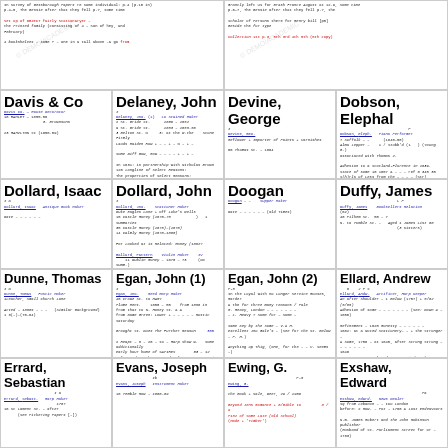[Figure (other): Scanned handwritten index card content top-left]
[Figure (other): Scanned handwritten index card content top-right]
Davis & Co
Delaney, John
Devine, George
Dobson, Elephal
Dollard, Isaac
Dollard, John
Doogan
Duffy, James
Dunne, Thomas
Egan, John (1)
Egan, John (2)
Ellard, Andrew
Errard, Sebastian
Evans, Joseph
Ewing, G.
Exshaw, Edward